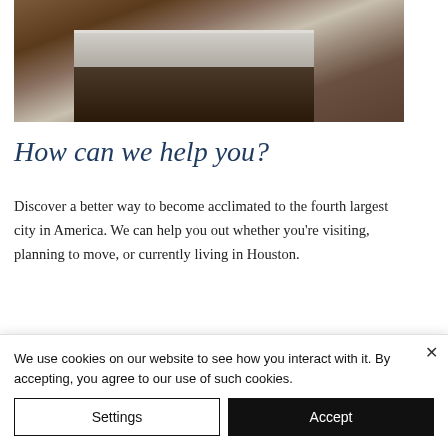[Figure (photo): Interior kitchen photo showing a dark wood kitchen island with light gray countertop, cabinet drawers with metal pulls, and hardwood floors]
How can we help you?
Discover a better way to become acclimated to the fourth largest city in America. We can help you out whether you're visiting, planning to move, or currently living in Houston.
We use cookies on our website to see how you interact with it. By accepting, you agree to our use of such cookies.
Settings
Accept